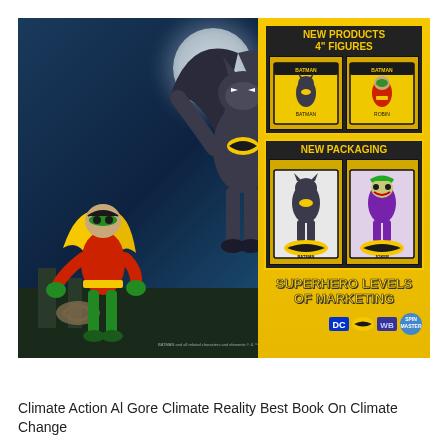[Figure (illustration): Batman DC Comics marketing advertisement showing Batman and Robin animated characters running in an action pose against a nighttime city background. Right side features yellow panels showing 'New Products 4" Figures' with Batman and Robin action figure packaging, and 'New Packaging' with Batman and Joker larger figure packaging. Bottom right text reads 'Superhero Levels of Marketing'. DC, Batman, WB, and Spin Master logos appear at bottom right.]
Climate Action Al Gore Climate Reality Best Book On Climate Change